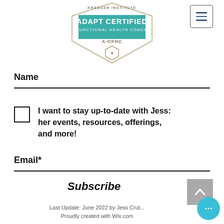[Figure (logo): Kresser Institute ADAPT Certified Functional Health Coach badge/seal with hexagonal icon and text 'A-CFHC']
[Figure (other): Hamburger menu icon - three horizontal lines in a rounded square border]
Name
I want to stay up-to-date with Jess: her events, resources, offerings, and more!
Email*
Subscribe
[Figure (other): Back to top arrow button - upward chevron on grey square background]
Last Update: June 2022 by Jess Crut...
Proudly created with Wix.com